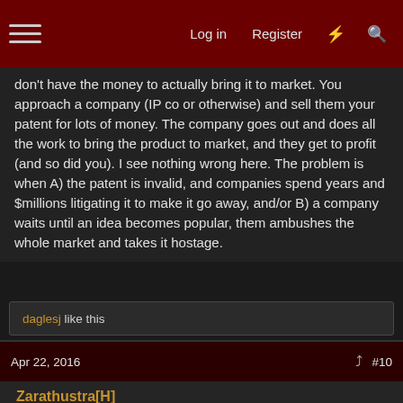Log in  Register  #10
don't have the money to actually bring it to market. You approach a company (IP co or otherwise) and sell them your patent for lots of money. The company goes out and does all the work to bring the product to market, and they get to profit (and so did you). I see nothing wrong here. The problem is when A) the patent is invalid, and companies spend years and $millions litigating it to make it go away, and/or B) a company waits until an idea becomes popular, them ambushes the whole market and takes it hostage.
daglesj like this
Apr 22, 2016  #10
Zarathustra[H]
Extremely [H]
My solution: Eliminate patent holding companies completely, by changing the law such that any patent that is not actively